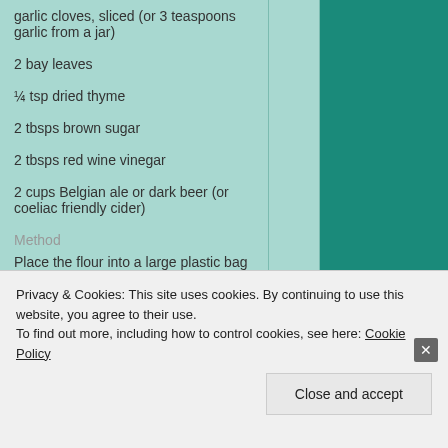3 garlic cloves, sliced (or 3 teaspoons garlic from a jar)
2 bay leaves
¼ tsp dried thyme
2 tbsps brown sugar
2 tbsps red wine vinegar
2 cups Belgian ale or dark beer (or coeliac friendly cider)
Method
Place the flour into a large plastic bag and season well with salt and pepper. Add the beef to the flour a few cubes at a time and toss to coat well.
Privacy & Cookies: This site uses cookies. By continuing to use this website, you agree to their use.
To find out more, including how to control cookies, see here: Cookie Policy